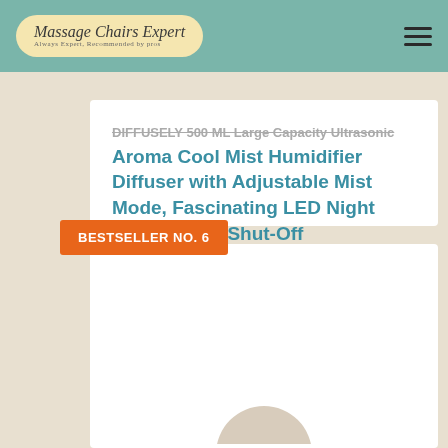Massage Chairs Expert
DIFFUSELY 500 ML Large Capacity Ultrasonic Aroma Cool Mist Humidifier Diffuser with Adjustable Mist Mode, Fascinating LED Night Lights, Auto Shut-Off
$26.99
[Figure (logo): Amazon Prime badge with orange checkmark and italic Prime text]
Buy on Amazon
BESTSELLER NO. 6
[Figure (photo): Partial view of a humidifier diffuser product, bottom cut off]